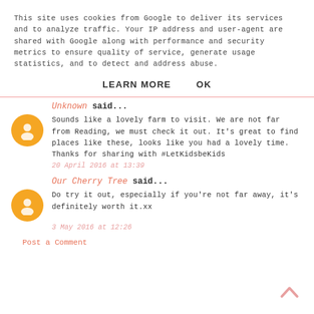This site uses cookies from Google to deliver its services and to analyze traffic. Your IP address and user-agent are shared with Google along with performance and security metrics to ensure quality of service, generate usage statistics, and to detect and address abuse.
LEARN MORE    OK
Unknown said...
Sounds like a lovely farm to visit. We are not far from Reading, we must check it out. It's great to find places like these, looks like you had a lovely time.
Thanks for sharing with #LetKidsbeKids
20 April 2016 at 13:39
Our Cherry Tree said...
Do try it out, especially if you're not far away, it's definitely worth it.xx
3 May 2016 at 12:26
Post a Comment